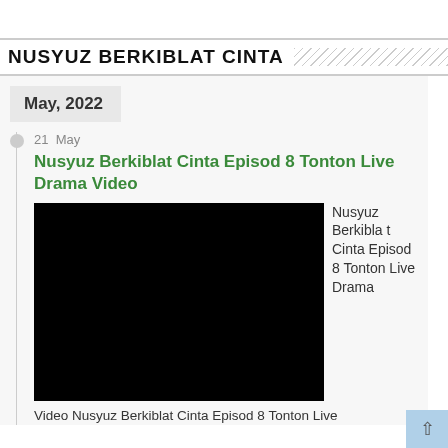NUSYUZ BERKIBLAT CINTA
May, 2022
21 May
Nusyuz Berkiblat Cinta Episod 8 Tonton Live Drama Video
[Figure (screenshot): Black video thumbnail/placeholder for Nusyuz Berkiblat Cinta Episod 8 Tonton Live Drama]
Nusyuz Berkiblat Cinta Episod 8 Tonton Live Drama
Video Nusyuz Berkiblat Cinta Episod 8 Tonton Live